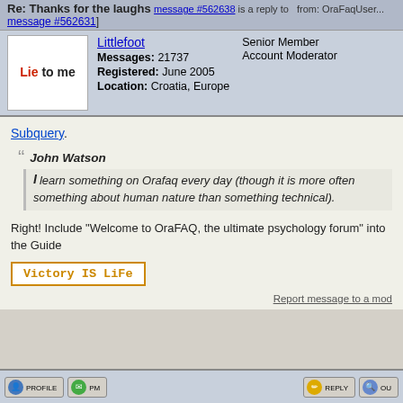Re: Thanks for the laughs [message #562638 is a reply to ... from: OraFaqUser...] message #562631]
Littlefoot | Messages: 21737 | Registered: June 2005 | Location: Croatia, Europe | Senior Member | Account Moderator
Subquery.
" John Watson
I learn something on Orafaq every day (though it is more often something about human nature than something technical).
Right! Include "Welcome to OraFAQ, the ultimate psychology forum" into the Guide
Victory IS LiFe
Report message to a mod